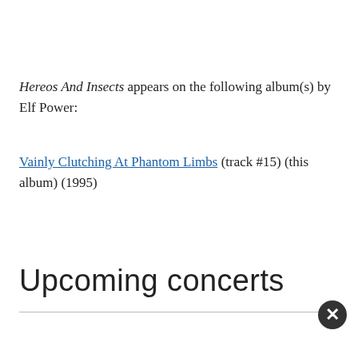Hereos And Insects appears on the following album(s) by Elf Power:
Vainly Clutching At Phantom Limbs (track #15) (this album) (1995)
Upcoming concerts